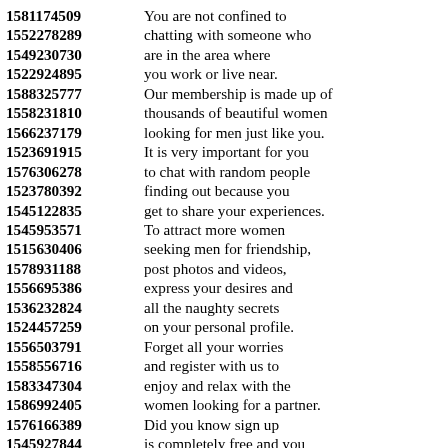1581174509 You are not confined to
1552278289 chatting with someone who
1549230730 are in the area where
1522924895 you work or live near.
1588325777 Our membership is made up of
1558231810 thousands of beautiful women
1566237179 looking for men just like you.
1523691915 It is very important for you
1576306278 to chat with random people
1523780392 finding out because you
1545122835 get to share your experiences.
1545953571 To attract more women
1515630406 seeking men for friendship,
1578931188 post photos and videos,
1556695386 express your desires and
1536232824 all the naughty secrets
1524457259 on your personal profile.
1556503791 Forget all your worries
1558556716 and register with us to
1583347304 enjoy and relax with the
1586992405 women looking for a partner.
1576166389 Did you know sign up
1545927844 is completely free and you
1521356357 will receive some information
1524842628 if you use your phone